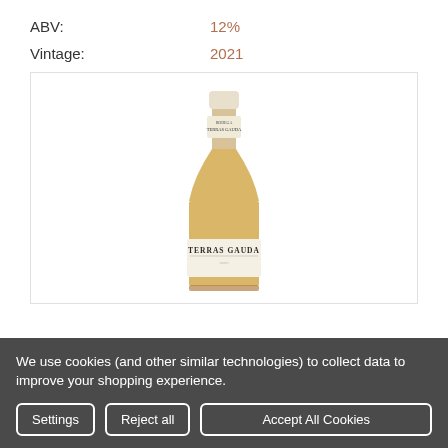ABV: 12%
Vintage: 2021
[Figure (photo): A bottle of Terras Gauda white wine with a cream-colored capsule and label reading TERRAS GAUDA, filled with golden-yellow wine.]
We use cookies (and other similar technologies) to collect data to improve your shopping experience.
Settings | Reject all | Accept All Cookies